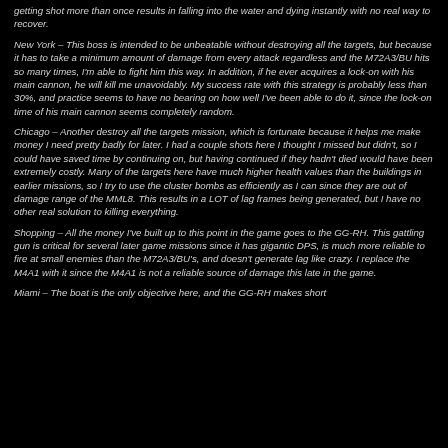getting shot more than once results in falling into the water and dying instantly with no real way to recover.
New York – This boss is intended to be unbeatable without destroying all the targets, but because it has to take a minimum amount of damage from every attack regardless and the M72A3/BU hits so many times, I'm able to fight him this way. In addition, if he ever acquires a lock-on with his main cannon, he will kill me unavoidably. My success rate with this strategy is probably less than 30%, and practice seems to have no bearing on how well I've been able to do it, since the lock-on time of his main cannon seems completely random.
Chicago – Another destroy all the targets mission, which is fortunate because it helps me make money I need pretty badly for later. I had a couple shots here I thought I missed but didn't, so I could have saved time by continuing on, but having continued if they hadn't died would have been extremely costly. Many of the targets here have much higher health values than the buildings in earlier missions, so I try to use the cluster bombs as efficiently as I can since they are out of damage range of the MML8. This results in a LOT of lag frames being generated, but I have no other real solution to killing everything.
Shopping – All the money I've built up to this point in the game goes to the GG-RH. This gattling gun is critical for several later game missions since it has gigantic DPS, is much more reliable to fire at small enemies than the M72A3/BU's, and doesn't generate lag like crazy. I replace the M4A1 with it since the M4A1 is not a reliable source of damage this late in the game.
Miami – The boat is the only objective here, and the GG-RH makes short